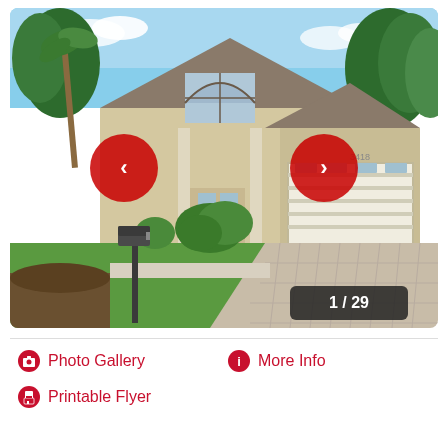[Figure (photo): Exterior photo of a single-story stucco house with two-car garage, arched window above front door, palm trees and tropical landscaping, paver driveway, and mailbox in foreground. Navigation arrows (left and right) in red circles overlaid. Counter badge showing '1 / 29' in bottom right.]
📷 Photo Gallery
ℹ More Info
🖨 Printable Flyer